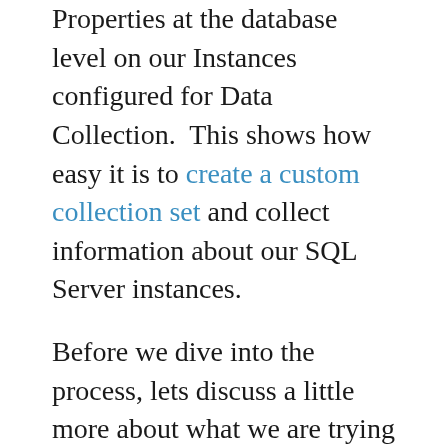Properties at the database level on our Instances configured for Data Collection.  This shows how easy it is to create a custom collection set and collect information about our SQL Server instances.
Before we dive into the process, lets discuss a little more about what we are trying to accomplish.  If you have been following along with the Froogle DBA posts, then you know that I recommend you document your database inside the databases themselves using Extended Properties.  By doing so, you can use Central Management Servers to report on your environment.  But sometimes it is just easier and faster to query this information from a single source.  Since we are already leveraging